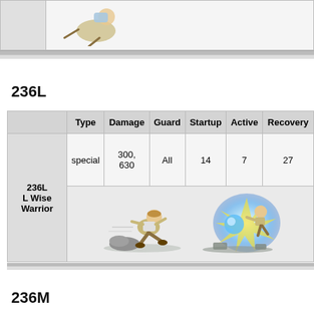| [character image] | [character art] |
236L
|  | Type | Damage | Guard | Startup | Active | Recovery |
| --- | --- | --- | --- | --- | --- | --- |
| 236L L Wise Warrior | special | 300, 630 | All | 14 | 7 | 27 |
|  | [images] |  |  |  |  |  |
236M